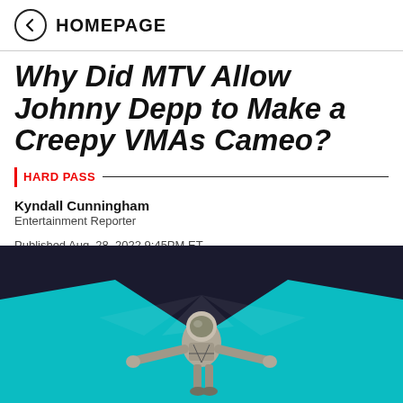HOMEPAGE
Why Did MTV Allow Johnny Depp to Make a Creepy VMAs Cameo?
HARD PASS
Kyndall Cunningham
Entertainment Reporter
Published Aug. 28, 2022 9:45PM ET
[Figure (other): Four social media share buttons: Facebook (f), Twitter (bird), Email (envelope), Reddit (alien icon)]
[Figure (photo): A figure in an astronaut/spacesuit costume with arms spread wide on a stage with teal/blue background lighting — Johnny Depp at the VMAs]